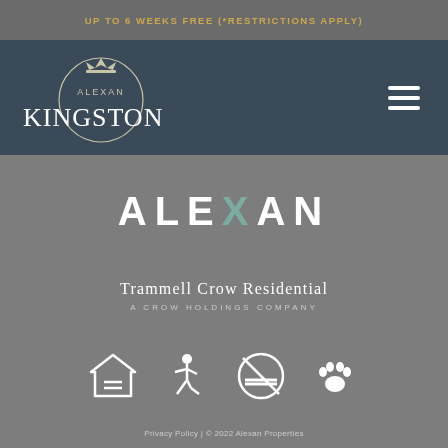UP TO 6 WEEKS FREE (*RESTRICTIONS APPLY)
[Figure (logo): Alexan Kingston logo — circular emblem with crown, text ALEXAN above KINGSTON in large serif white letters, set on dark navy navigation bar with hamburger menu icon on right]
[Figure (logo): ALEXAN wordmark in large bold white letters with teal/green X, centered on grey background]
[Figure (logo): Trammell Crow Residential logo — serif white text with subtitle A CROW HOLDINGS COMPANY in small caps]
[Figure (infographic): Four compliance/policy icons in white: Equal Housing (house with equal sign), Accessibility (wheelchair symbol), No Smoking (cigarette crossed out), Pet Friendly (paw print)]
Privacy Policy | © 2022 Alexan Properties